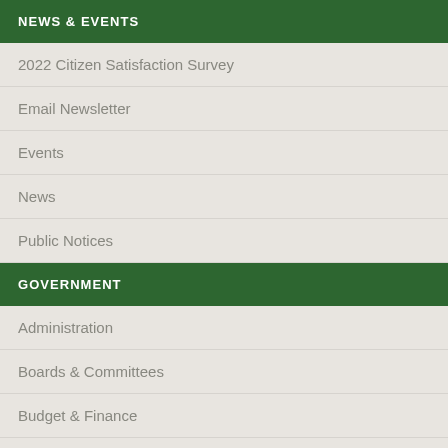NEWS & EVENTS
2022 Citizen Satisfaction Survey
Email Newsletter
Events
News
Public Notices
GOVERNMENT
Administration
Boards & Committees
Budget & Finance
Bylaws
Careers